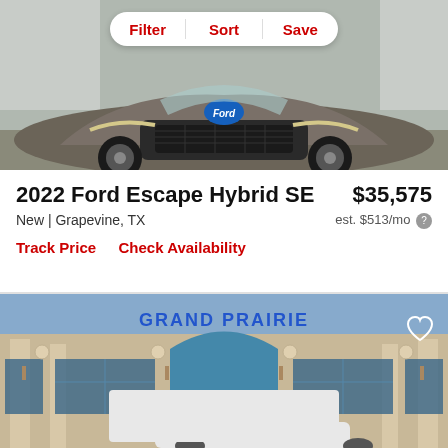[Figure (photo): Front view of a 2022 Ford Escape Hybrid SE in dark gray/bronze color, parked in a lot. A Filter/Sort/Save toolbar is overlaid at the top.]
2022 Ford Escape Hybrid SE
$35,575
New | Grapevine, TX
est. $513/mo
Track Price   Check Availability
[Figure (photo): Grand Prairie dealership building exterior with sign reading GRAND PRAIRIE, tan brick facade with blue glass windows and a heart/favorite icon overlay.]